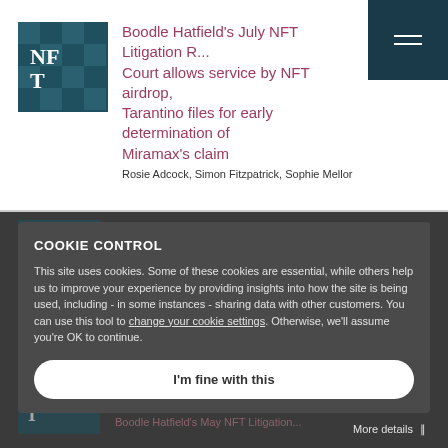[Figure (logo): NFT logo with teal/dark teal checkered pattern]
Boodle Hatfield's July NFT Litigation Round-up: Court allows service by NFT airdrop, Tarantino files for early determination of Miramax's claim
Rosie Adcock, Simon Fitzpatrick, Sophie Mellor
COOKIE CONTROL
This site uses cookies. Some of these cookies are essential, while others help us to improve your experience by providing insights into how the site is being used, including - in some instances - sharing data with other customers. You can use this tool to change your cookie settings. Otherwise, we'll assume you're OK to continue.
I'm fine with this
More details ∨